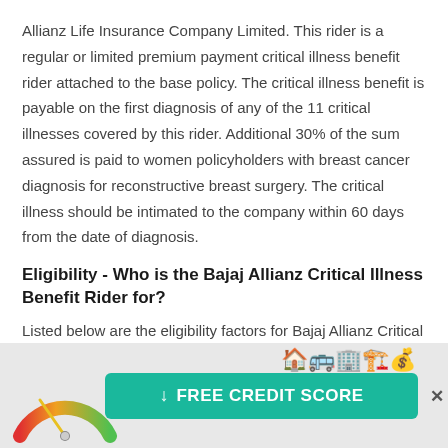Allianz Life Insurance Company Limited. This rider is a regular or limited premium payment critical illness benefit rider attached to the base policy. The critical illness benefit is payable on the first diagnosis of any of the 11 critical illnesses covered by this rider. Additional 30% of the sum assured is paid to women policyholders with breast cancer diagnosis for reconstructive breast surgery. The critical illness should be intimated to the company within 60 days from the date of diagnosis.
Eligibility - Who is the Bajaj Allianz Critical Illness Benefit Rider for?
Listed below are the eligibility factors for Bajaj Allianz Critical Illness Benefit Rider:
| Entry age (minimum to maximum) | 18 years to 50 years |
| Maturity age (ma... |  |
[Figure (infographic): Advertisement overlay with credit score gauge graphic on left and green 'FREE CREDIT SCORE' button with download arrow icon, and city/building icons above button. Close X button on right.]